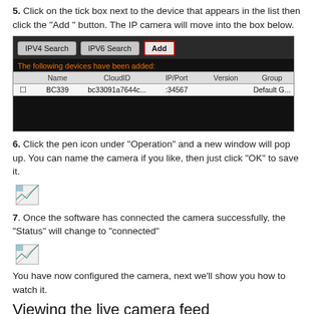5. Click on the tick box next to the device that appears in the list then click the “Add” button. The IP camera will move into the box below.
[Figure (screenshot): Screenshot of device management software showing IPV4 Search, IPV6 Search, and Add buttons at top. Below is a table with columns: Name, CloudID, IP/Port, Version, Group. One device row shows: BC339, bc33091a7644c..., :34567, Default G...]
6. Click the pen icon under “Operation” and a new window will pop up. You can name the camera if you like, then just click “OK” to save it.
[Figure (screenshot): Broken image icon placeholder for pen icon / new window screenshot]
7. Once the software has connected the camera successfully, the “Status” will change to “connected”
[Figure (screenshot): Broken image icon placeholder for status connected screenshot]
You have now configured the camera, next we’ll show you how to watch it.
Viewing the live camera feed